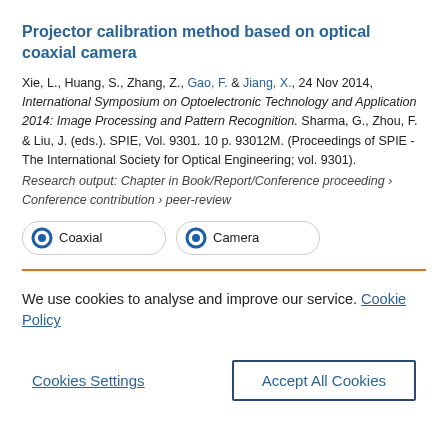Projector calibration method based on optical coaxial camera
Xie, L., Huang, S., Zhang, Z., Gao, F. & Jiang, X., 24 Nov 2014, International Symposium on Optoelectronic Technology and Application 2014: Image Processing and Pattern Recognition. Sharma, G., Zhou, F. & Liu, J. (eds.). SPIE, Vol. 9301. 10 p. 93012M. (Proceedings of SPIE - The International Society for Optical Engineering; vol. 9301).
Research output: Chapter in Book/Report/Conference proceeding › Conference contribution › peer-review
[Figure (infographic): Two badge-style indicators: 'Coaxial' with 100% donut icon and 'Camera' with 100% donut icon]
We use cookies to analyse and improve our service. Cookie Policy
Cookies Settings   Accept All Cookies